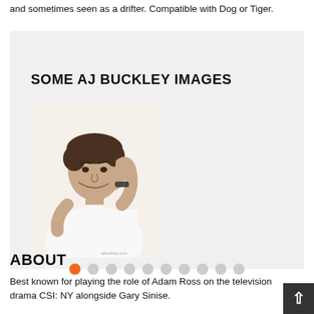and sometimes seen as a drifter. Compatible with Dog or Tiger.
SOME AJ BUCKLEY IMAGES
[Figure (photo): Photo of AJ Buckley — a young man with dark messy hair wearing a white tank top, hand raised behind his neck, with a bracelet on his wrist. White background. Watermark: ajbuckley.com]
ABOUT
Best known for playing the role of Adam Ross on the television drama CSI: NY alongside Gary Sinise.